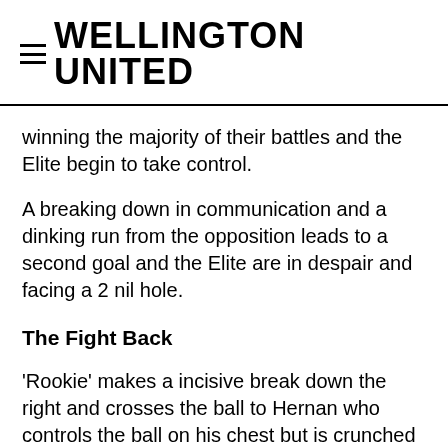≡ WELLINGTON UNITED
winning the majority of their battles and the Elite begin to take control.
A breaking down in communication and a dinking run from the opposition leads to a second goal and the Elite are in despair and facing a 2 nil hole.
The Fight Back
'Rookie' makes a incisive break down the right and crosses the ball to Hernan who controls the ball on his chest but is crunched from behind and goes down like Todd on a girl from Tinder and the ref mulls on a decision before reluctantly pointing